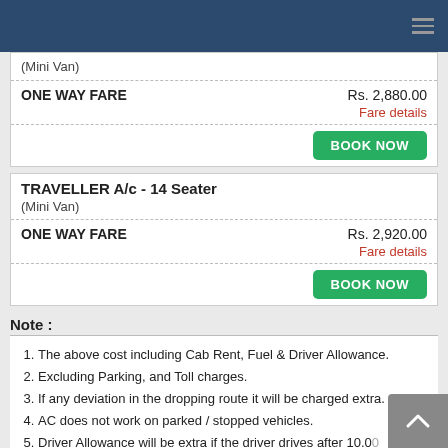(Mini Van)
| ONE WAY FARE | Rs. 2,880.00 |
| --- | --- |
|  | Fare details |
|  | BOOK NOW |
| TRAVELLER A/c - 14 Seater |  |
| --- | --- |
| (Mini Van) |  |
| ONE WAY FARE | Rs. 2,920.00 |
|  | Fare details |
|  | BOOK NOW |
Note :
The above cost including Cab Rent, Fuel & Driver Allowance.
Excluding Parking, and Toll charges.
If any deviation in the dropping route it will be charged extra.
AC does not work on parked / stopped vehicles.
Driver Allowance will be extra if the driver drives after 10.00 and before 6.00 am.